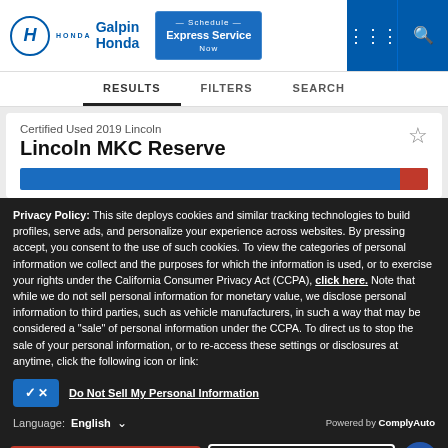[Figure (logo): Galpin Honda logo with Honda H emblem and blue text]
Schedule Express Service Now | Menu | Search
RESULTS   FILTERS   SEARCH
Certified Used 2019 Lincoln
Lincoln MKC Reserve
Privacy Policy: This site deploys cookies and similar tracking technologies to build profiles, serve ads, and personalize your experience across websites. By pressing accept, you consent to the use of such cookies. To view the categories of personal information we collect and the purposes for which the information is used, or to exercise your rights under the California Consumer Privacy Act (CCPA), click here. Note that while we do not sell personal information for monetary value, we disclose personal information to third parties, such as vehicle manufacturers, in such a way that may be considered a "sale" of personal information under the CCPA. To direct us to stop the sale of your personal information, or to re-access these settings or disclosures at anytime, click the following icon or link:
Do Not Sell My Personal Information
Language: English   Powered by ComplyAuto
Accept and Continue →   California Privacy Disclosures